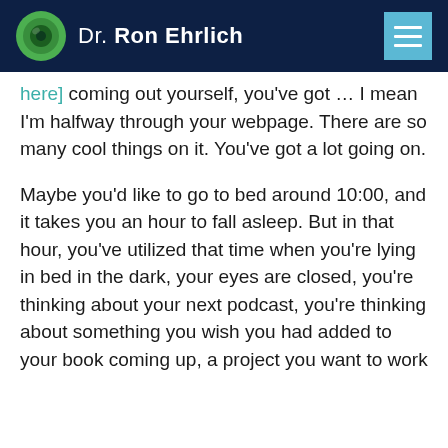Dr. Ron Ehrlich
[here] coming out yourself, you've got … I mean I'm halfway through your webpage. There are so many cool things on it. You've got a lot going on.
Maybe you'd like to go to bed around 10:00, and it takes you an hour to fall asleep. But in that hour, you've utilized that time when you're lying in bed in the dark, your eyes are closed, you're thinking about your next podcast, you're thinking about something you wish you had added to your book coming up, a project you want to work out with a friend, like if you don't actually...